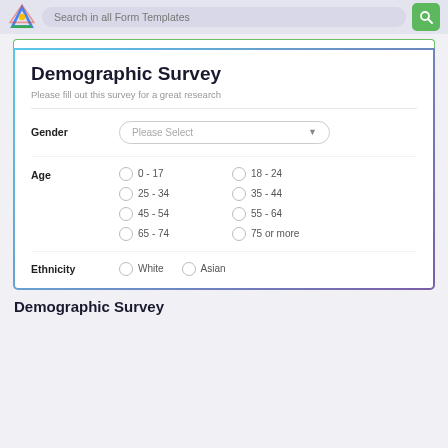[Figure (screenshot): Top navigation bar with logo, search field 'Search in all Form Templates', and green search button]
Demographic Survey
Please fill out this survey for a great research
Gender — Please Select (dropdown)
Age — 0 - 17, 18 - 24, 25 - 34, 35 - 44, 45 - 54, 55 - 64, 65 - 74, 75 or more (radio buttons)
Ethnicity — White, Asian (radio buttons, partially visible)
Demographic Survey